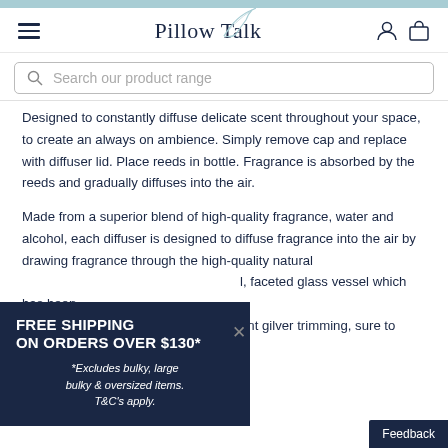Pillow Talk
Search our product range
Designed to constantly diffuse delicate scent throughout your space, to create an always on ambience. Simply remove cap and replace with diffuser lid. Place reeds in bottle. Fragrance is absorbed by the reeds and gradually diffuses into the air.
Made from a superior blend of high-quality fragrance, water and alcohol, each diffuser is designed to diffuse fragrance into the air by drawing fragrance through the high-quality natural
l, faceted glass vessel which has been ant gilver trimming, sure to elevate any room in the home.
FREE SHIPPING ON ORDERS OVER $130*
*Excludes bulky, large bulky & oversized items. T&C's apply.
Feedback